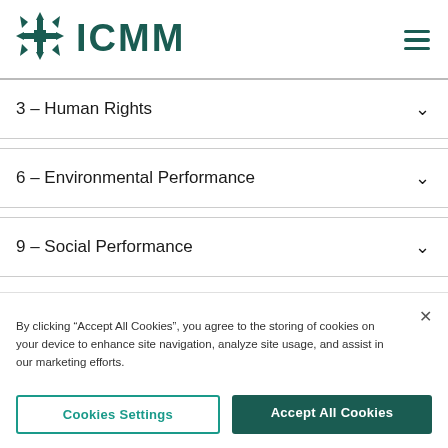ICMM
3 – Human Rights
6 – Environmental Performance
9 – Social Performance
By clicking “Accept All Cookies”, you agree to the storing of cookies on your device to enhance site navigation, analyze site usage, and assist in our marketing efforts.
Cookies Settings
Accept All Cookies